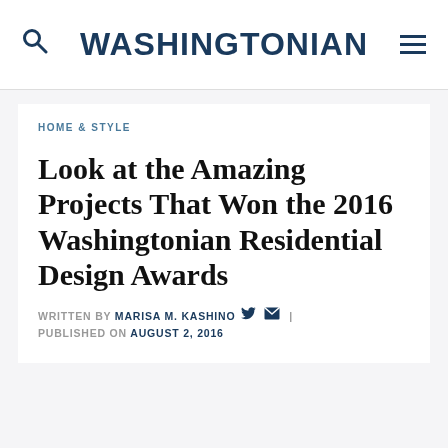WASHINGTONIAN
HOME & STYLE
Look at the Amazing Projects That Won the 2016 Washingtonian Residential Design Awards
WRITTEN BY MARISA M. KASHINO | PUBLISHED ON AUGUST 2, 2016